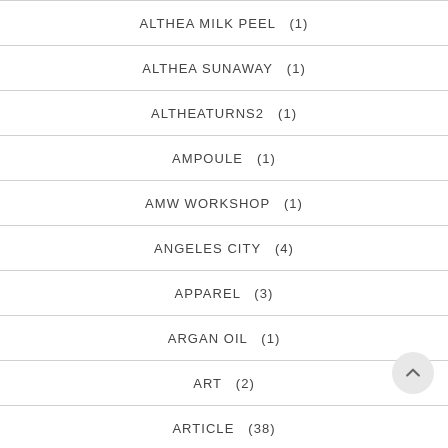ALTHEA MILK PEEL  (1)
ALTHEA SUNAWAY  (1)
ALTHEATURNS2  (1)
AMPOULE  (1)
AMW WORKSHOP  (1)
ANGELES CITY  (4)
APPAREL  (3)
ARGAN OIL  (1)
ART  (2)
ARTICLE  (38)